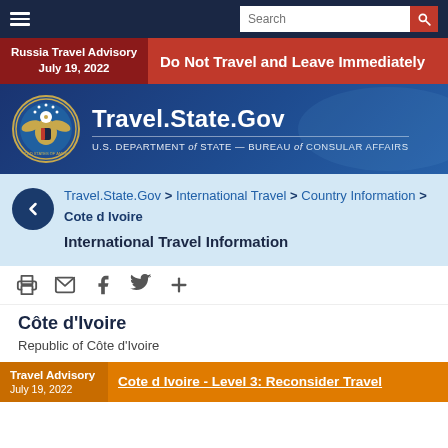Travel.State.Gov — U.S. DEPARTMENT of STATE — BUREAU of CONSULAR AFFAIRS
Russia Travel Advisory July 19, 2022 — Do Not Travel and Leave Immediately
Travel.State.Gov > International Travel > Country Information > Cote d Ivoire International Travel Information
Côte d'Ivoire
Republic of Côte d'Ivoire
Travel Advisory — Cote d Ivoire - Level 3: Reconsider Travel